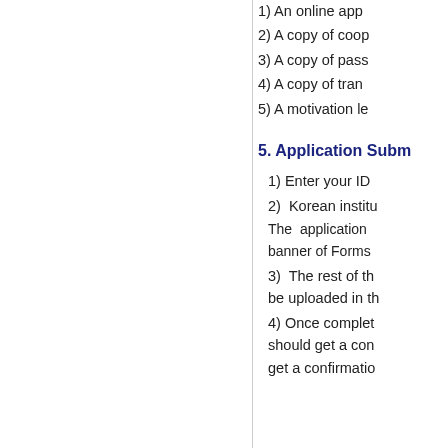1) An online app
2) A copy of coop
3) A copy of pass
4) A copy of tran
5) A motivation le
5. Application Subm
1) Enter your ID
2)  Korean institu
The  application banner of Forms
3)  The rest of th be uploaded in th
4) Once complet should get a con get a confirmatio